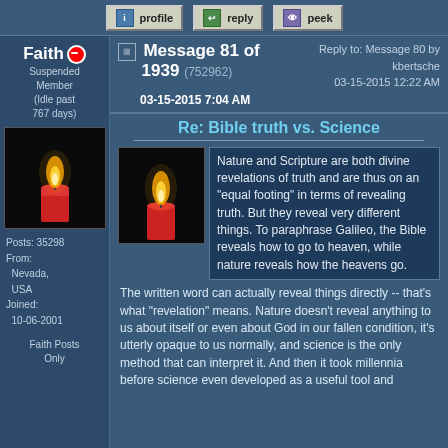profile | reply | peek
Message 81 of 1939 (752962) 03-15-2015 7:04 AM | Reply to: Message 80 by kbertsche 03-15-2015 12:22 AM
Faith Suspended Member (Idle past 767 days)
[Figure (photo): A lit red candle with flame against a dark background]
Posts: 35298
From: Nevada, USA
Joined: 10-06-2001
Faith Posts Only
Re: Bible truth vs. Science
Nature and Scripture are both divine revelations of truth and are thus on an "equal footing" in terms of revealing truth. But they reveal very different things. To paraphrase Galileo, the Bible reveals how to go to heaven, while nature reveals how the heavens go.
The written word can actually reveal things directly -- that's what "revelation" means. Nature doesn't reveal anything to us about itself or even about God in our fallen condition, it's utterly opaque to us normally, and science is the only method that can interpret it. And then it took millennia before science even developed as a useful tool and